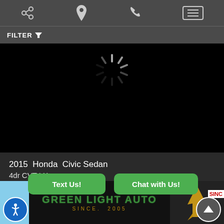Navigation bar with share, location, phone, and menu icons
FILTER
[Figure (screenshot): Black image area with loading spinner (gray radial lines in circular pattern) indicating a car image is loading]
2015  Honda  Civic Sedan
4dr CVT LX
112,982 miles
$13,978
Text Us!
Chat with Us!
[Figure (photo): Green Light Auto dealer sign/logo with golden rocket, text reads GREEN LIGHT AUTO SINCE. 2005]
SINCE